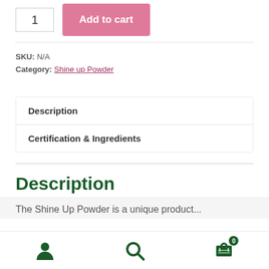1  Add to cart
SKU: N/A
Category: Shine up Powder
Description
Certification & Ingredients
Description
The Shine Up Powder is a unique product...